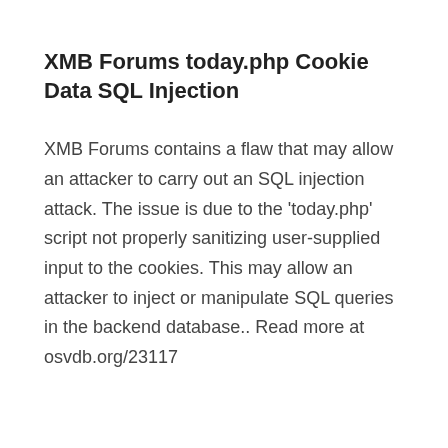XMB Forums today.php Cookie Data SQL Injection
XMB Forums contains a flaw that may allow an attacker to carry out an SQL injection attack. The issue is due to the 'today.php' script not properly sanitizing user-supplied input to the cookies. This may allow an attacker to inject or manipulate SQL queries in the backend database.. Read more at osvdb.org/23117